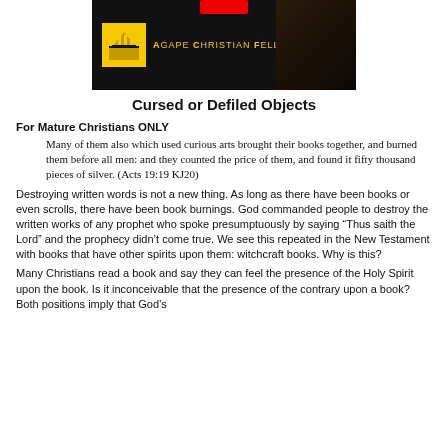[Figure (logo): Agape Christian Fellowship banner with black background, yellow logo icon, yellow text reading AGAPE CHRISTIAN FELLOWSHIP, a red bar at top center, and a quill/gavel image on the right.]
Cursed or Defiled Objects
For Mature Christians ONLY
Many of them also which used curious arts brought their books together, and burned them before all men: and they counted the price of them, and found it fifty thousand pieces of silver. (Acts 19:19 KJ20)
Destroying written words is not a new thing. As long as there have been books or even scrolls, there have been book burnings. God commanded people to destroy the written works of any prophet who spoke presumptuously by saying “Thus saith the Lord” and the prophecy didn’t come true. We see this repeated in the New Testament with books that have other spirits upon them: witchcraft books. Why is this?
Many Christians read a book and say they can feel the presence of the Holy Spirit upon the book. Is it inconceivable that the presence of the contrary upon a book? Both positions imply that God’s